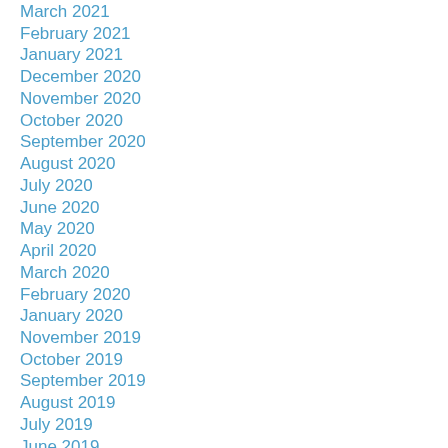March 2021
February 2021
January 2021
December 2020
November 2020
October 2020
September 2020
August 2020
July 2020
June 2020
May 2020
April 2020
March 2020
February 2020
January 2020
November 2019
October 2019
September 2019
August 2019
July 2019
June 2019